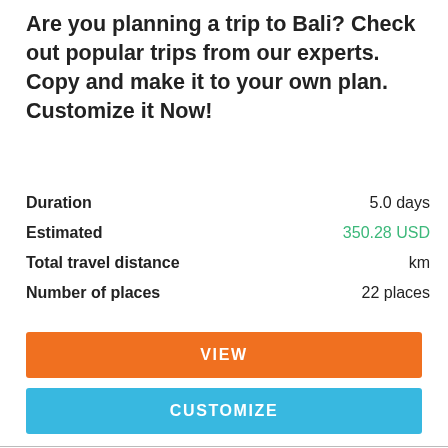Are you planning a trip to Bali? Check out popular trips from our experts. Copy and make it to your own plan. Customize it Now!
Duration	5.0 days
Estimated	350.28 USD
Total travel distance	km
Number of places	22 places
VIEW
CUSTOMIZE
Read more:
1. Things To Have Fun With Your Kids In Bali
2. What and Where To Eat In Bali